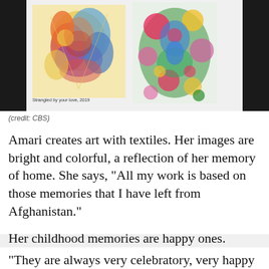[Figure (photo): Photograph showing two colorful textile artworks displayed on a light background. Left artwork: bright multicolored abstract/figurative textile with caption 'Strangled by your love, 2019'. Right artwork: colorful floral/bird textile in vivid greens, pinks, reds, and blues. Photo framed by dark border on sides.]
(credit: CBS)
Amari creates art with textiles. Her images are bright and colorful, a reflection of her memory of home. She says, "All my work is based on those memories that I have left from Afghanistan."
Her childhood memories are happy ones.
"They are always very celebratory, very happy